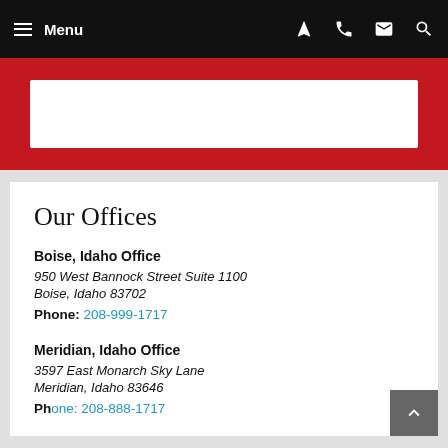Menu
[Figure (screenshot): Red banner with white search box area]
Our Offices
Boise, Idaho Office
950 West Bannock Street Suite 1100
Boise, Idaho 83702
Phone: 208-999-1717
Meridian, Idaho Office
3597 East Monarch Sky Lane
Meridian, Idaho 83646
Phone: 208-999-1717 (partial, cut off)